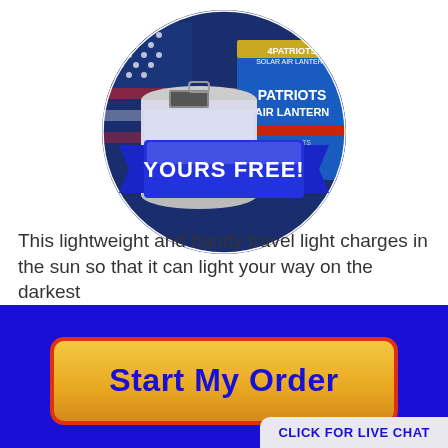[Figure (photo): Circular photo showing a 4Patriots Solar Air Lantern product (a clear cylindrical LED lantern) next to its blue product box with an American flag background. A blue ribbon banner overlaid reads 'YOURS FREE!' in bold white text.]
This lightweight and handy travel light charges in the sun so that it can light your way on the darkest
[Figure (other): Orange/yellow 'Start My Order' button with red border on a dark blue background, and a 'CLICK FOR LIVE CHAT' badge in the bottom right corner.]